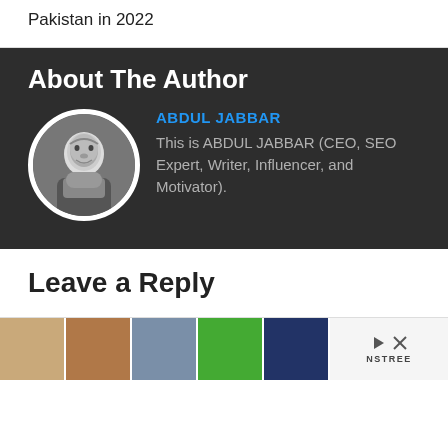Pakistan in 2022
About The Author
ABDUL JABBAR
This is ABDUL JABBAR (CEO, SEO Expert, Writer, Influencer, and Motivator).
Leave a Reply
[Figure (photo): Advertisement banner showing shoes/footwear images with NSTREE brand logo and play/close controls]